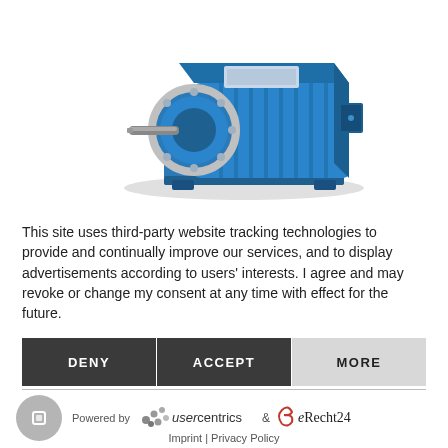[Figure (photo): Blue electric motor / induction motor with silver flange mount and shaft, viewed from a 3/4 perspective angle. Motor is blue with cooling fins on the body and a mounting base plate.]
This site uses third-party website tracking technologies to provide and continually improve our services, and to display advertisements according to users' interests. I agree and may revoke or change my consent at any time with effect for the future.
DENY
ACCEPT
MORE
Powered by
[Figure (logo): Usercentrics logo with stylized dots forming a u-shape and the text 'usercentrics']
&
[Figure (logo): eRecht24 logo with stylized script letter e and 'eRecht24' text]
Imprint | Privacy Policy